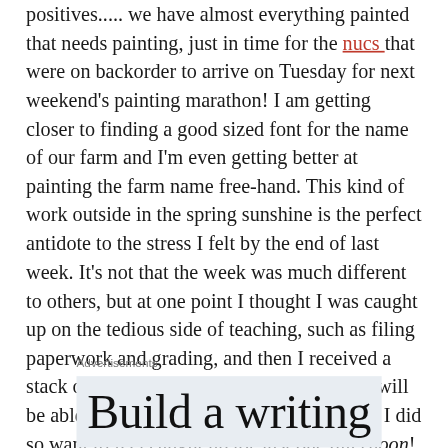positives.....  we have almost everything painted that needs painting, just in time for the nucs that were on backorder to arrive on Tuesday for next weekend's painting marathon!  I am getting closer to finding a good sized font for the name of our farm and I'm even getting better at painting the farm name free-hand.   This kind of work outside in the spring sunshine is the perfect antidote to the stress I felt by the end of last week.   It's not that the week was much different to others, but at one point I thought I was caught up on the tedious side of teaching, such as filing paperwork and grading, and then I received a stack of essays to evaluate by Tuesday.....   I will be able to score them relatively quickly, but I did so want to feel caught up for just one afternoon!
Advertisements
Build a writing